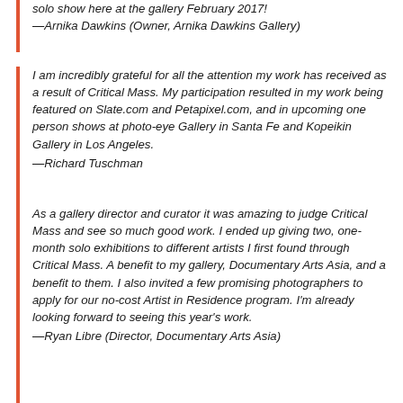solo show here at the gallery February 2017! —Arnika Dawkins (Owner, Arnika Dawkins Gallery)
I am incredibly grateful for all the attention my work has received as a result of Critical Mass. My participation resulted in my work being featured on Slate.com and Petapixel.com, and in upcoming one person shows at photo-eye Gallery in Santa Fe and Kopeikin Gallery in Los Angeles. —Richard Tuschman
As a gallery director and curator it was amazing to judge Critical Mass and see so much good work. I ended up giving two, one-month solo exhibitions to different artists I first found through Critical Mass. A benefit to my gallery, Documentary Arts Asia, and a benefit to them. I also invited a few promising photographers to apply for our no-cost Artist in Residence program. I'm already looking forward to seeing this year's work. —Ryan Libre (Director, Documentary Arts Asia)